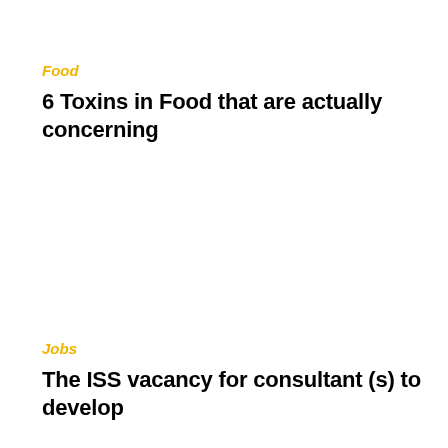Food
6 Toxins in Food that are actually concerning
Jobs
The ISS vacancy for consultant (s) to develop